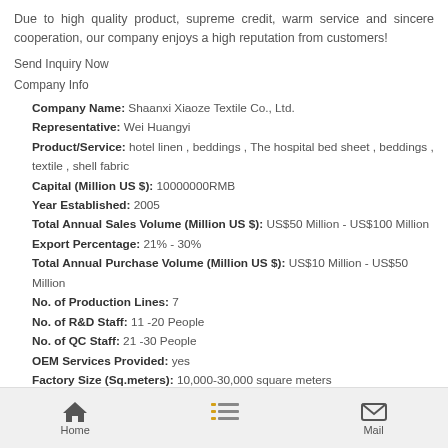Due to high quality product, supreme credit, warm service and sincere cooperation, our company enjoys a high reputation from customers!
Send Inquiry Now
Company Info
Company Name: Shaanxi Xiaoze Textile Co., Ltd.
Representative: Wei Huangyi
Product/Service: hotel linen , beddings , The hospital bed sheet , beddings , textile , shell fabric
Capital (Million US $): 10000000RMB
Year Established: 2005
Total Annual Sales Volume (Million US $): US$50 Million - US$100 Million
Export Percentage: 21% - 30%
Total Annual Purchase Volume (Million US $): US$10 Million - US$50 Million
No. of Production Lines: 7
No. of R&D Staff: 11 -20 People
No. of QC Staff: 21 -30 People
OEM Services Provided: yes
Factory Size (Sq.meters): 10,000-30,000 square meters
Factory Location: Baoji City, Shaanxi Province
Contact Person: Mr. weihuangyi
Tel: 86--13669221111
Premium Related Products
Home | Menu | Mail